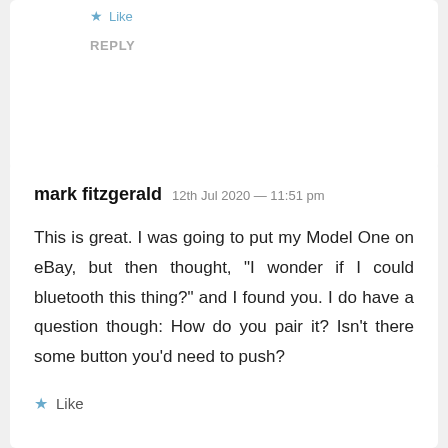Like
REPLY
mark fitzgerald  12th Jul 2020 — 11:51 pm
This is great. I was going to put my Model One on eBay, but then thought, “I wonder if I could bluetooth this thing?” and I found you. I do have a question though: How do you pair it? Isn’t there some button you’d need to push?
Like